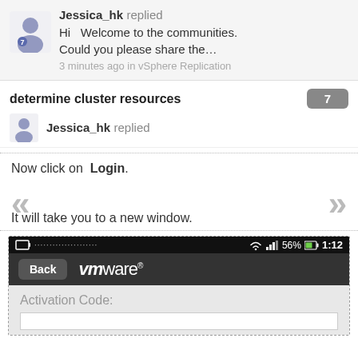[Figure (screenshot): Mobile app screenshot showing Jessica_hk replied. Hi Welcome to the communities. Could you please share the... 3 minutes ago in vSphere Replication]
[Figure (screenshot): Second card showing 'determine cluster resources' thread with reply count badge 7 and Jessica_hk replied]
Now click on Login.
It will take you to a new window.
[Figure (screenshot): VMware mobile app screenshot showing status bar with wifi, signal, 56% battery, 1:12 time, Back button, VMware logo, and Activation Code field]